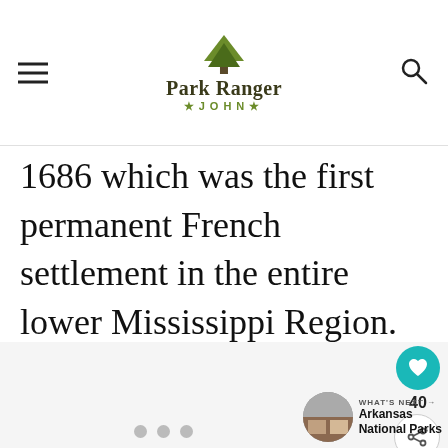Park Ranger JOHN
1686 which was the first permanent French settlement in the entire lower Mississippi Region.
[Figure (photo): Image carousel placeholder area with dot navigation indicators]
40
WHAT'S NEXT → Arkansas National Parks